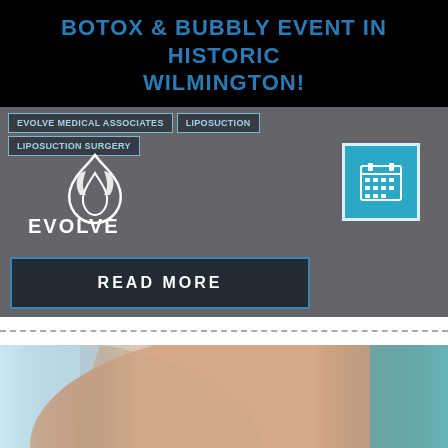BOTOX & BUBBLY EVENT IN HISTORIC WILMINGTON!
[Figure (screenshot): Medical spa website screenshot showing navigation tags for Evolve Medical Associates and Liposuction, logo, calendar icon, and a READ MORE button on dark gray background]
[Figure (photo): Close-up photo of a slim torso/abdomen against a light blue/teal background, with accessibility icon overlay and Google reCAPTCHA privacy notice]